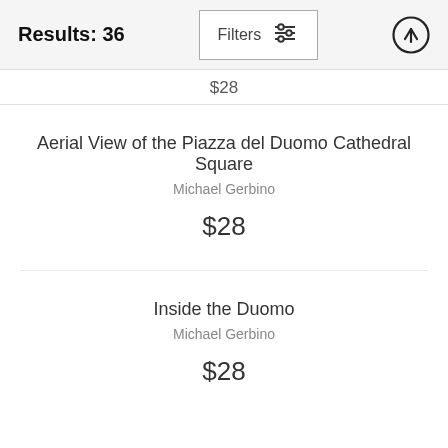Results: 36
$28
Aerial View of the Piazza del Duomo Cathedral Square
Michael Gerbino
$28
Inside the Duomo
Michael Gerbino
$28